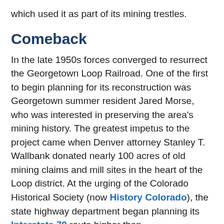which used it as part of its mining trestles.
Comeback
In the late 1950s forces converged to resurrect the Georgetown Loop Railroad. One of the first to begin planning for its reconstruction was Georgetown summer resident Jared Morse, who was interested in preserving the area’s mining history. The greatest impetus to the project came when Denver attorney Stanley T. Wallbank donated nearly 100 acres of old mining claims and mill sites in the heart of the Loop district. At the urging of the Colorado Historical Society (now History Colorado), the state highway department began planning its Interstate 70 route higher than